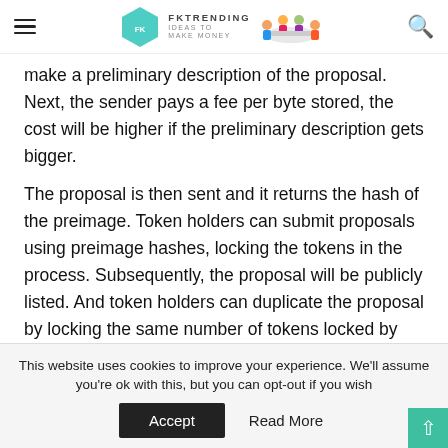FKTRENDING IDEAS TO MAKE MONEY [logo and illustration]
make a preliminary description of the proposal. Next, the sender pays a fee per byte stored, the cost will be higher if the preliminary description gets bigger.
The proposal is then sent and it returns the hash of the preimage. Token holders can submit proposals using preimage hashes, locking the tokens in the process. Subsequently, the proposal will be publicly listed. And token holders can duplicate the proposal by locking the same number of tokens locked by the original proposal sender.
This website uses cookies to improve your experience. We'll assume you're ok with this, but you can opt-out if you wish
Accept   Read More